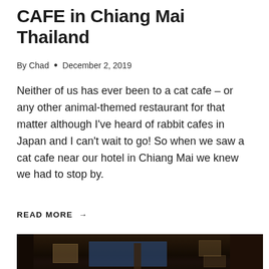CAFE in Chiang Mai Thailand
By Chad • December 2, 2019
Neither of us has ever been to a cat cafe – or any other animal-themed restaurant for that matter although I've heard of rabbit cafes in Japan and I can't wait to go! So when we saw a cat cafe near our hotel in Chiang Mai we knew we had to stop by.
READ MORE →
[Figure (photo): Interior of a dark wooden Thai building/restaurant with atmospheric lighting, wooden ceiling beams, illuminated windows with grid patterns, and a blue twilight sky visible through the windows]